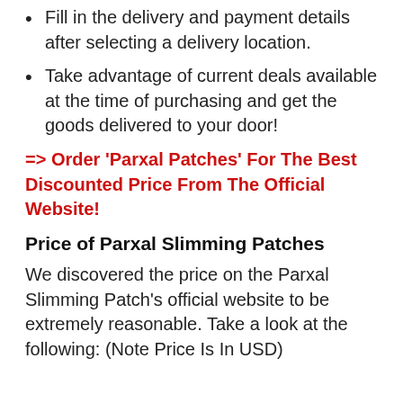Fill in the delivery and payment details after selecting a delivery location.
Take advantage of current deals available at the time of purchasing and get the goods delivered to your door!
=> Order 'Parxal Patches' For The Best Discounted Price From The Official Website!
Price of Parxal Slimming Patches
We discovered the price on the Parxal Slimming Patch's official website to be extremely reasonable. Take a look at the following: (Note Price Is In USD)